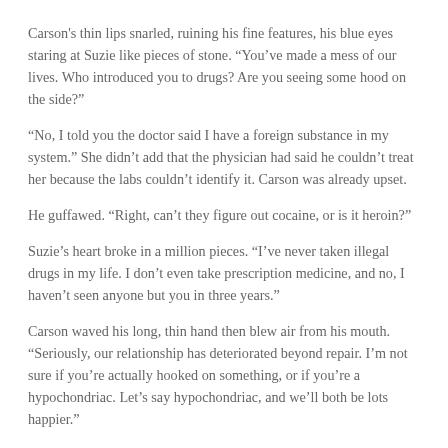Carson's thin lips snarled, ruining his fine features, his blue eyes staring at Suzie like pieces of stone. “You’ve made a mess of our lives. Who introduced you to drugs? Are you seeing some hood on the side?”
“No, I told you the doctor said I have a foreign substance in my system.” She didn’t add that the physician had said he couldn’t treat her because the labs couldn’t identify it. Carson was already upset.
He guffawed. “Right, can’t they figure out cocaine, or is it heroin?”
Suzie’s heart broke in a million pieces. “I’ve never taken illegal drugs in my life. I don’t even take prescription medicine, and no, I haven’t seen anyone but you in three years.”
Carson waved his long, thin hand then blew air from his mouth. “Seriously, our relationship has deteriorated beyond repair. I’m not sure if you’re actually hooked on something, or if you’re a hypochondriac. Let’s say hypochondriac, and we’ll both be lots happier.”